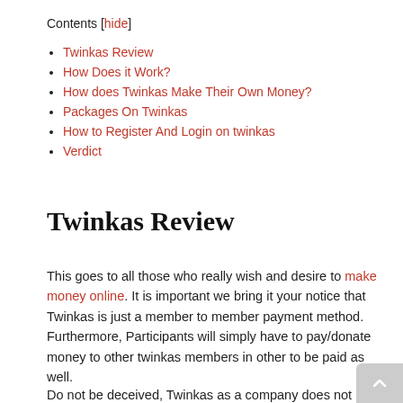Contents [hide]
Twinkas Review
How Does it Work?
How does Twinkas Make Their Own Money?
Packages On Twinkas
How to Register And Login on twinkas
Verdict
Twinkas Review
This goes to all those who really wish and desire to make money online. It is important we bring it your notice that Twinkas is just a member to member payment method. Furthermore, Participants will simply have to pay/donate money to other twinkas members in other to be paid as well.
Do not be deceived, Twinkas as a company does not have